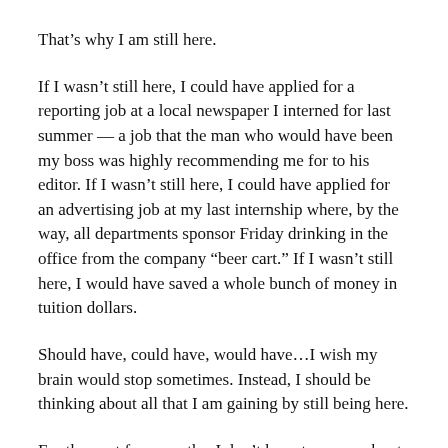That’s why I am still here.
If I wasn’t still here, I could have applied for a reporting job at a local newspaper I interned for last summer — a job that the man who would have been my boss was highly recommending me for to his editor. If I wasn’t still here, I could have applied for an advertising job at my last internship where, by the way, all departments sponsor Friday drinking in the office from the company “beer cart.” If I wasn’t still here, I would have saved a whole bunch of money in tuition dollars.
Should have, could have, would have…I wish my brain would stop sometimes. Instead, I should be thinking about all that I am gaining by still being here.
For the next four months, I don’t have to worry about bills. I get to learn from an award-winning journalist who is teaching a class here for one semester only. I also got to enroll in classes I wanted to take that don’t fall into my major plan. I still see some of the best friends I have ever had every week, because we haven’t moved away to other cities or states yet. And last, but not in the least, I will continue to write and